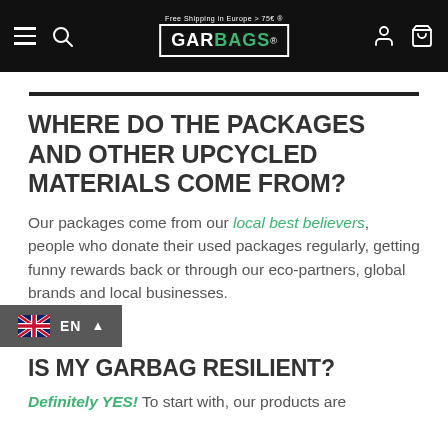GarBags - Free Shipping in Europe > 75€
WHERE DO THE PACKAGES AND OTHER UPCYCLED MATERIALS COME FROM?
Our packages come from our local best believers, people who donate their used packages regularly, getting funny rewards back or through our eco-partners, global brands and local businesses.
IS MY GARBAG RESILIENT?
Definitely YES! To start with, our products are